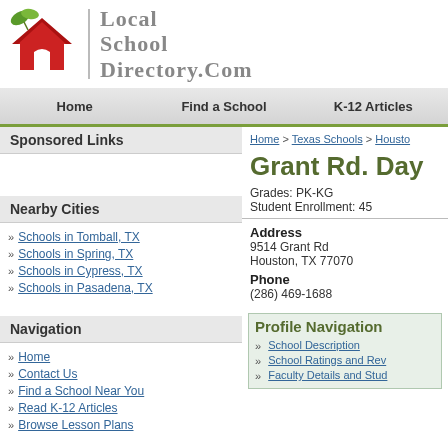[Figure (logo): Local School Directory logo with red house and green leaves icon]
Local School Directory.com
Home | Find a School | K-12 Articles
Sponsored Links
Nearby Cities
Schools in Tomball, TX
Schools in Spring, TX
Schools in Cypress, TX
Schools in Pasadena, TX
Navigation
Home
Contact Us
Find a School Near You
Read K-12 Articles
Browse Lesson Plans
Home > Texas Schools > Houston
Grant Rd. Day
Grades: PK-KG
Student Enrollment: 45
Address
9514 Grant Rd
Houston, TX 77070
Phone
(286) 469-1688
Profile Navigation
School Description
School Ratings and Reviews
Faculty Details and Student